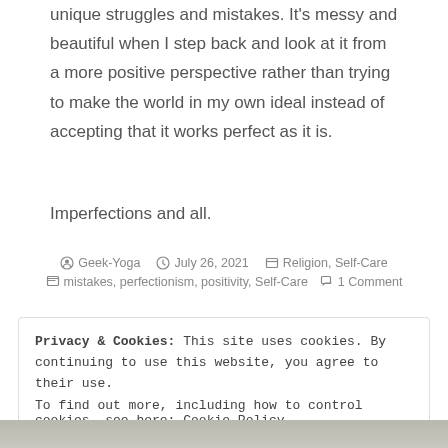unique struggles and mistakes. It's messy and beautiful when I step back and look at it from a more positive perspective rather than trying to make the world in my own ideal instead of accepting that it works perfect as it is.
Imperfections and all.
Geek-Yoga   July 26, 2021   Religion, Self-Care   mistakes, perfectionism, positivity, Self-Care   1 Comment
Privacy & Cookies: This site uses cookies. By continuing to use this website, you agree to their use.
To find out more, including how to control cookies, see here: Cookie Policy
Close and accept